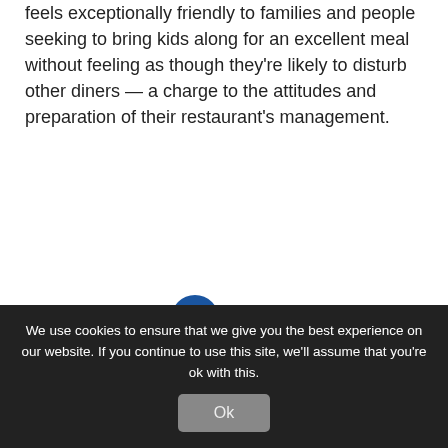feels exceptionally friendly to families and people seeking to bring kids along for an excellent meal without feeling as though they're likely to disturb other diners — a charge to the attitudes and preparation of their restaurant's management.
Please Share
[Figure (logo): Facebook logo icon — dark blue circle with white 'f' letter]
[Figure (logo): Twitter logo icon — light blue circle with white bird silhouette]
[Figure (logo): LinkedIn logo icon — dark circle with white 'in' text]
We use cookies to ensure that we give you the best experience on our website. If you continue to use this site, we'll assume that you're ok with this.
Ok
Posted in Foods Main